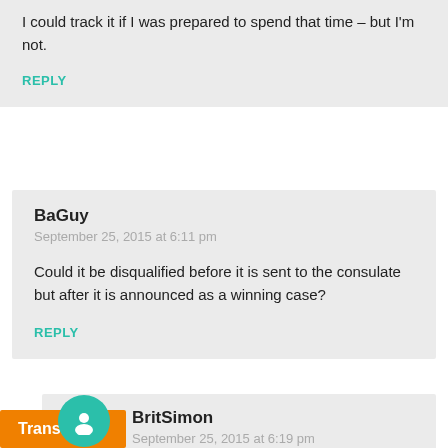I could track it if I was prepared to spend that time – but I'm not.
REPLY
BaGuy
September 25, 2015 at 6:11 pm
Could it be disqualified before it is sent to the consulate but after it is announced as a winning case?
REPLY
BritSimon
September 25, 2015 at 6:19 pm
Translate »